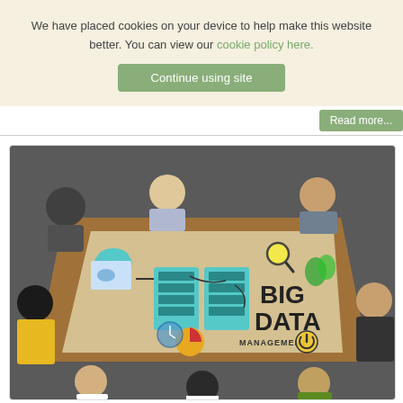We have placed cookies on your device to help make this website better. You can view our cookie policy here.
Continue using site
Read more...
[Figure (photo): Overhead view of diverse group of people gathered around a wooden table covered with a large paper filled with hand-drawn Big Data management concepts, icons, and the words BIG DATA MANAGEMENT. People include a woman in yellow, a person in blue jeans, and others pointing and discussing.]